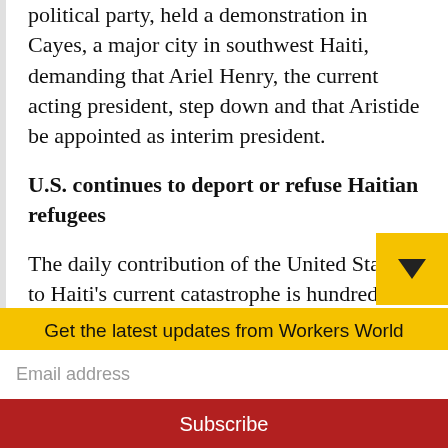political party, held a demonstration in Cayes, a major city in southwest Haiti, demanding that Ariel Henry, the current acting president, step down and that Aristide be appointed as interim president.
U.S. continues to deport or refuse Haitian refugees
The daily contribution of the United States to Haiti's current catastrophe is hundreds of deportees. In May the U.S. deported over 4,000 Haitians, a record, bringing the total number of deportees during the Biden...
Get the latest updates from Workers World
Email address
Subscribe